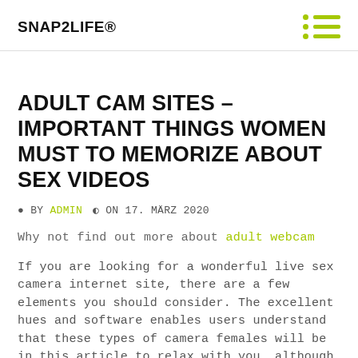SNAP2LIFE®
ADULT CAM SITES – IMPORTANT THINGS WOMEN MUST TO MEMORIZE ABOUT SEX VIDEOS
BY ADMIN  ON 17. MÄRZ 2020
Why not find out more about adult webcam
If you are looking for a wonderful live sex camera internet site, there are a few elements you should consider. The excellent hues and software enables users understand that these types of camera females will be in this article to relax with you, although i am not saying they aren't